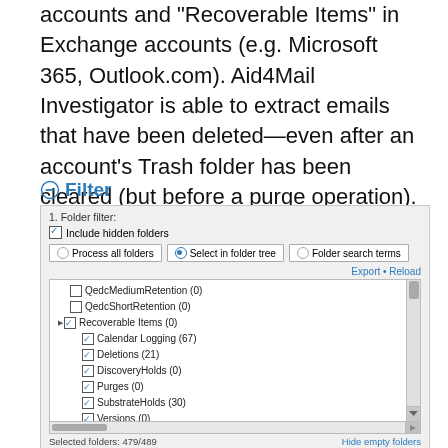accounts and "Recoverable Items" in Exchange accounts (e.g. Microsoft 365, Outlook.com). Aid4Mail Investigator is able to extract emails that have been deleted—even after an account's Trash folder has been cleared (but before a purge operation). This capability is invaluable to recover clues that a custodian may have tried to destroy.
⊖ Filter
[Figure (screenshot): Aid4Mail Filter panel showing folder filter options. Checkbox 'Include hidden folders' is checked. Radio buttons: 'Process all folders', 'Select in folder tree' (selected), 'Folder search terms'. Tree view shows QedcMediumRetention (0), QedcShortRetention (0), Recoverable Items (0) expanded with sub-items: Calendar Logging (67), Deletions (21), DiscoveryHolds (0), Purges (0), SubstrateHolds (30), Versions (0), all checked; RecoveryPoints (2) and RelevantContacts (359) unchecked. Bottom: 'Selected folders: 479/489' and 'Hide empty folders' link.]